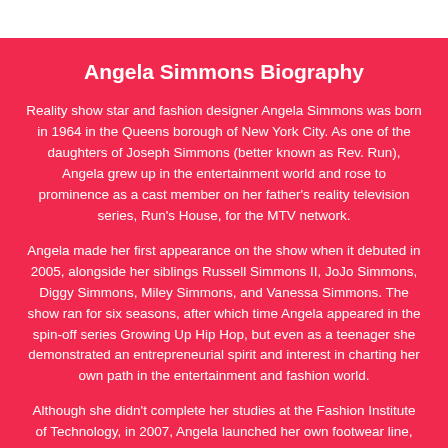Angela Simmons Biography
Reality show star and fashion designer Angela Simmons was born in 1964 in the Queens borough of New York City. As one of the daughters of Joseph Simmons (better known as Rev. Run), Angela grew up in the entertainment world and rose to prominence as a cast member on her father's reality television series, Run's House, for the MTV network.
Angela made her first appearance on the show when it debuted in 2005, alongside her siblings Russell Simmons II, JoJo Simmons, Diggy Simmons, Miley Simmons, and Vanessa Simmons. The show ran for six seasons, after which time Angela appeared in the spin-off series Growing Up Hip Hop, but even as a teenager she demonstrated an entrepreneurial spirit and interest in charting her own path in the entertainment and fashion world.
Although she didn't complete her studies at the Fashion Institute of Technology, in 2007, Angela launched her own footwear line, Pastry Footwear, with sister Vanessa. A few years later, she appeared in Bow Wow's video for Shortie Like Mine, but within a short period of time